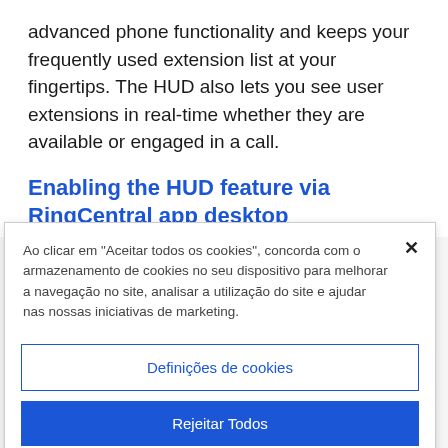advanced phone functionality and keeps your frequently used extension list at your fingertips. The HUD also lets you see user extensions in real-time whether they are available or engaged in a call.
Enabling the HUD feature via RingCentral app desktop
Ao clicar em "Aceitar todos os cookies", concorda com o armazenamento de cookies no seu dispositivo para melhorar a navegação no site, analisar a utilização do site e ajudar nas nossas iniciativas de marketing.
Definições de cookies
Rejeitar Todos